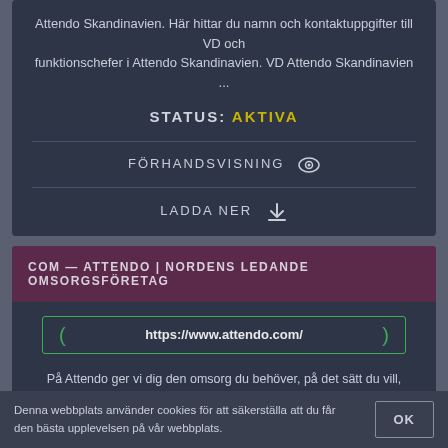Attendo Skandinavien. Här hittar du namn och kontaktuppgifter till VD och funktionschefer i Attendo Skandinavien. VD Attendo Skandinavien ...
STATUS: AKTIVA
FÖRHANDSVISNING
LADDA NER
COM — ATTENDO | NORDENS LEDANDE OMSORGSFÖRETAG
https://www.attendo.com/
På Attendo ger vi dig den omsorg du behöver, på det sätt du vill, oavsett var vi möter våra kunder runt om i Norden.
STATUS: AKTIVA
Denna webbplats använder cookies för att säkerställa att du får den bästa upplevelsen på vår webbplats.